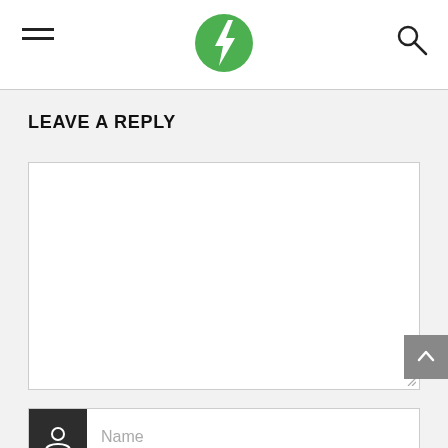[Figure (logo): Green circular logo with white lightning bolt icon in the center, navigation header with hamburger menu on left and search icon on right]
LEAVE A REPLY
[Figure (screenshot): Empty white textarea comment input box with resize handle in bottom right corner]
[Figure (screenshot): Name input field with dark gray person/user icon box on the left and 'Name' placeholder text]